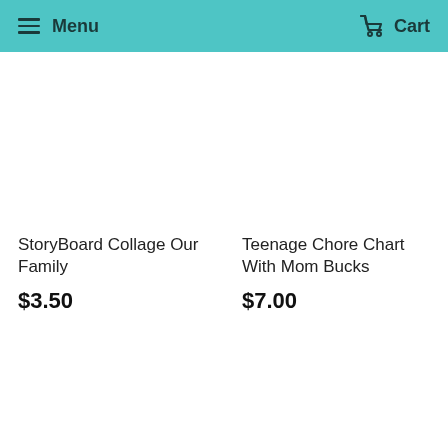Menu  Cart
StoryBoard Collage Our Family
$3.50
Teenage Chore Chart With Mom Bucks
$7.00